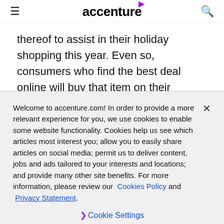accenture
thereof to assist in their holiday shopping this year. Even so, consumers who find the best deal online will buy that item on their personal computer at home (64 percent). Consumers who said they would use a tablet or smartphone for their holiday shopping
Welcome to accenture.com! In order to provide a more relevant experience for you, we use cookies to enable some website functionality. Cookies help us see which articles most interest you; allow you to easily share articles on social media; permit us to deliver content, jobs and ads tailored to your interests and locations; and provide many other site benefits. For more information, please review our Cookies Policy and Privacy Statement.
Cookie Settings